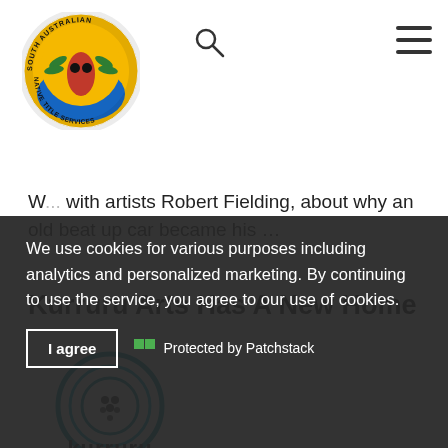[Figure (logo): South Australian Native Title Services circular logo with red figure and green leaves on orange/blue background]
[Figure (other): Search icon (magnifying glass)]
[Figure (other): Hamburger menu icon (three horizontal lines)]
W... with artists Robert Fielding, about why an old beat up car became his …
Kurruru Arts Has A New Home
[Figure (logo): Kurruru Arts circular logo with teal spiral/circle design and dots, with 'kurruru' text below]
kurruru
We use cookies for various purposes including analytics and personalized marketing. By continuing to use the service, you agree to our use of cookies.
I agree
Protected by Patchstack